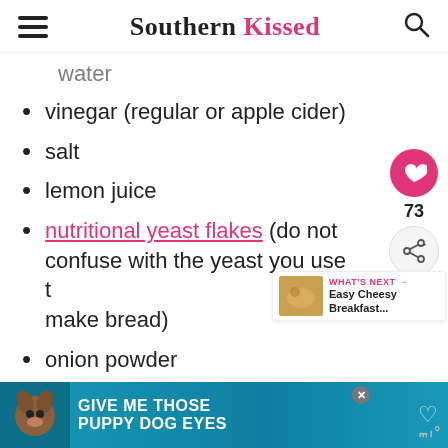Southern Kissed
water (partial, cut off)
vinegar (regular or apple cider)
salt
lemon juice
nutritional yeast flakes (do not confuse with the yeast you use to make bread)
onion powder
[Figure (screenshot): Advertisement banner: teal/blue background with dog image and text GIVE ME THOSE PUPPY DOG EYES with heart icon. Close button visible. Logo in bottom right corner.]